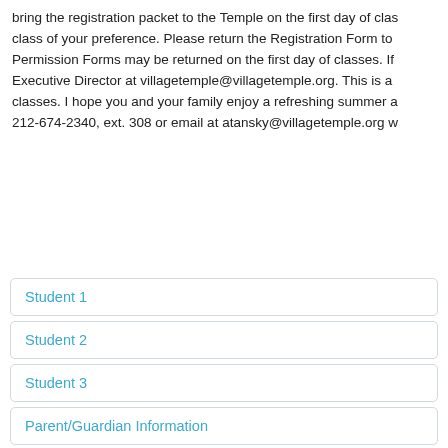bring the registration packet to the Temple on the first day of class of your preference. Please return the Registration Form to . Permission Forms may be returned on the first day of classes. If Executive Director at villagetemple@villagetemple.org. This is a classes. I hope you and your family enjoy a refreshing summer a 212-674-2340, ext. 308 or email at atansky@villagetemple.org w
Student 1
Student 2
Student 3
Parent/Guardian Information
Permission Forms
Class Schedule/Tuition Fees
Membership Dues
Confidential Information